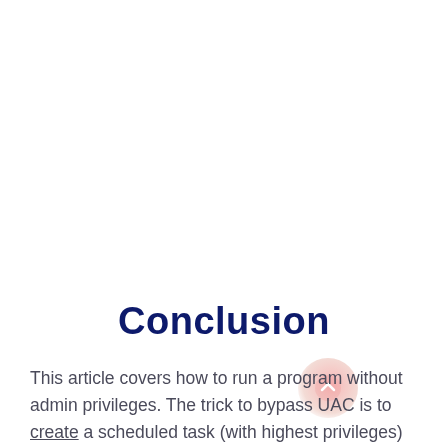Conclusion
This article covers how to run a program without admin privileges. The trick to bypass UAC is to create a scheduled task (with highest privileges) for each